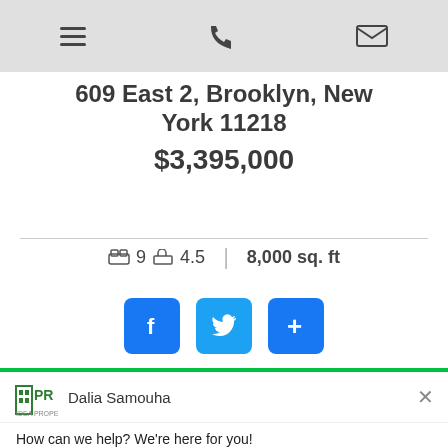Navigation bar with hamburger menu, phone icon, and email icon
609 East 2, Brooklyn, New York 11218
$3,395,000
9 bedrooms  4.5 bathrooms  |  8,000 sq. ft
[Figure (other): Social sharing buttons: Facebook (f), Twitter (bird), and Plus (+) buttons in blue rounded squares]
[Figure (screenshot): Chat widget overlay with IDEA Properties logo, agent name Dalia Samouha, message 'How can we help? We're here for you!', reply input field, and 'Chat by Drift' footer]